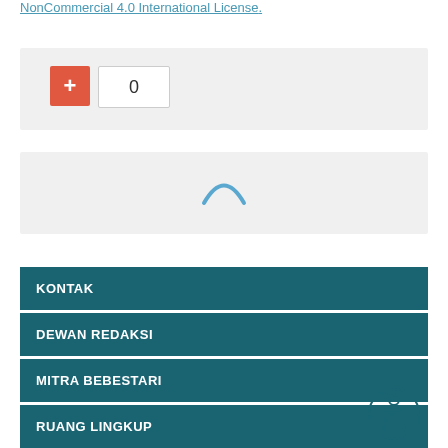NonCommercial 4.0 International License.
[Figure (screenshot): A UI widget showing a red plus button and a count box displaying 0]
[Figure (screenshot): A loading spinner (arc) on a grey background panel]
KONTAK
DEWAN REDAKSI
MITRA BEBESTARI
RUANG LINGKUP